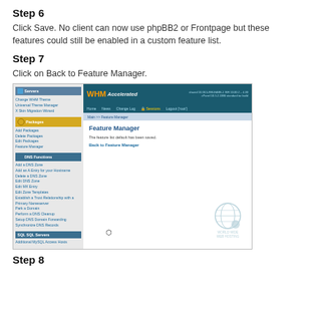Step 6
Click Save. No client can now use phpBB2 or Frontpage but these features could still be enabled in a custom feature list.
Step 7
Click on Back to Feature Manager.
[Figure (screenshot): WHM Accelerated control panel screenshot showing Feature Manager page with 'The feature list default has been saved.' message and 'Back to Feature Manager' link. Left sidebar shows Servers, Packages, DNS Functions, SQL SQL Servers sections.]
Step 8